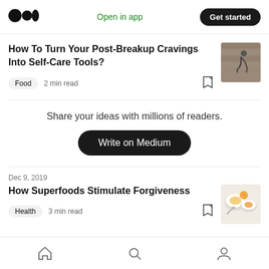[Figure (logo): Medium logo — three overlapping circles]
Open in app
Get started
How To Turn Your Post-Breakup Cravings Into Self-Care Tools?
Food  2 min read
[Figure (photo): Person doing yoga/exercise on a wooden deck]
Share your ideas with millions of readers.
Write on Medium
Dec 9, 2019
How Superfoods Stimulate Forgiveness
Health  3 min read
[Figure (photo): Bowls of food with orange slices and a spoon]
[Figure (illustration): Bottom nav bar with home, search, and profile icons]